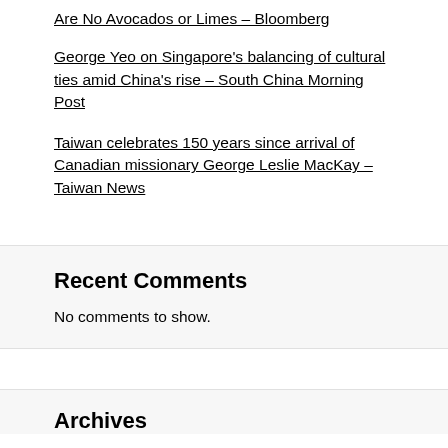Are No Avocados or Limes – Bloomberg
George Yeo on Singapore's balancing of cultural ties amid China's rise – South China Morning Post
Taiwan celebrates 150 years since arrival of Canadian missionary George Leslie MacKay – Taiwan News
Recent Comments
No comments to show.
Archives